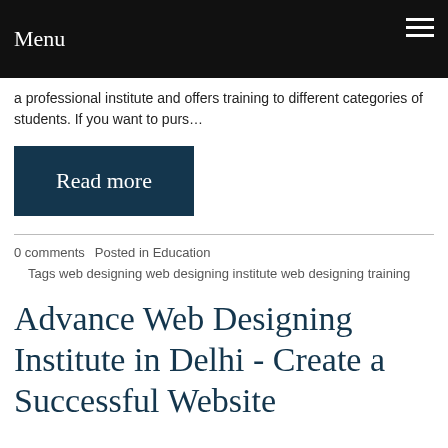Menu
a professional institute and offers training to different categories of students. If you want to purs…
Read more
0 comments   Posted in Education
Tags web designing web designing institute web designing training
Advance Web Designing Institute in Delhi - Create a Successful Website